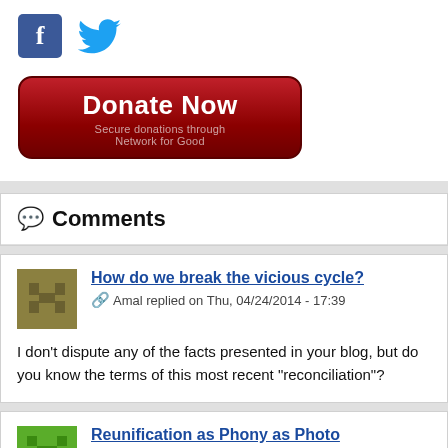[Figure (logo): Facebook logo icon (blue square with white f) and Twitter bird icon (blue)]
[Figure (illustration): Donate Now button — dark red/crimson rounded rectangle with white bold text 'Donate Now' and smaller text 'Secure donations through Network for Good']
💬 Comments
How do we break the vicious cycle?
Amal replied on Thu, 04/24/2014 - 17:39
I don't dispute any of the facts presented in your blog, but do you know the terms of this most recent "reconciliation"?
Reunification as Phony as Photo